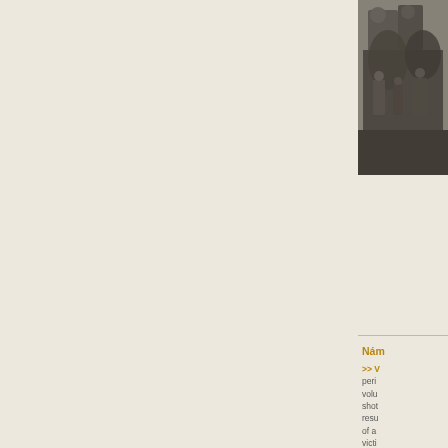[Figure (photo): Black and white historical photograph of a group of people, partially cropped at the right edge of the page]
Nám
>> V peri volu shot resu of ac victi